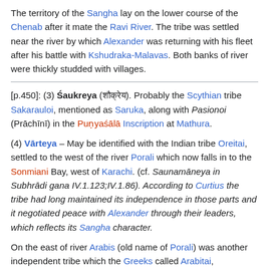The territory of the Sangha lay on the lower course of the Chenab after it mate the Ravi River. The tribe was settled near the river by which Alexander was returning with his fleet after his battle with Kshudraka-Malavas. Both banks of river were thickly studded with villages.
[p.450]: (3) Śaukreya (शौक्रेय). Probably the Scythian tribe Sakarauloi, mentioned as Saruka, along with Pasionoi (Prāchīnī) in the Puṇyaśālā Inscription at Mathura.
(4) Vārteya – May be identified with the Indian tribe Oreitai, settled to the west of the river Porali which now falls in to the Sonmiani Bay, west of Karachi. (cf. Saunamāneya in Subhrādi gana IV.1.123;IV.1.86). According to Curtius the tribe had long maintained its independence in those parts and it negotiated peace with Alexander through their leaders, which reflects its Sangha character.
On the east of river Arabis (old name of Porali) was another independent tribe which the Greeks called Arabitai, corresponding to Sanskrit Ārabhata (the home of the Ārabhati vritti), a word unknown in Paninian geography, but both of them as the Greeks...